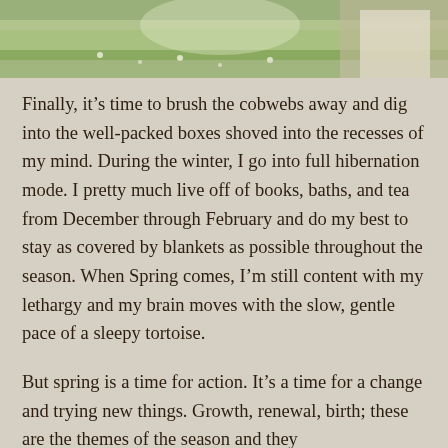[Figure (photo): Outdoor scene with green grass and what appears to be a person in white clothing, cropped at top of page]
Finally, it’s time to brush the cobwebs away and dig into the well-packed boxes shoved into the recesses of my mind. During the winter, I go into full hibernation mode. I pretty much live off of books, baths, and tea from December through February and do my best to stay as covered by blankets as possible throughout the season. When Spring comes, I’m still content with my lethargy and my brain moves with the slow, gentle pace of a sleepy tortoise.
But spring is a time for action. It’s a time for a change and trying new things. Growth, renewal, birth; these are the themes of the season and they